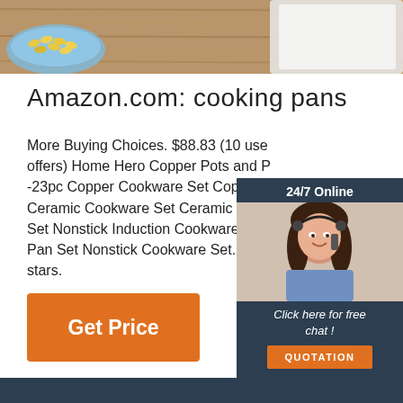[Figure (photo): Top portion of a web page screenshot showing a wooden table with a blue bowl of corn/snacks and white dishes/pans]
Amazon.com: cooking pans
More Buying Choices. $88.83 (10 use offers) Home Hero Copper Pots and P -23pc Copper Cookware Set Copper P Ceramic Cookware Set Ceramic Pots Set Nonstick Induction Cookware Sets Pan Set Nonstick Cookware Set. 4.5 o stars.
[Figure (screenshot): 24/7 Online chat widget with woman wearing headset and 'Click here for free chat!' and QUOTATION button]
[Figure (other): Orange 'Get Price' button]
[Figure (other): Orange dotted triangle TOP logo in bottom right]
[Figure (other): Dark navy footer bar at bottom of page]